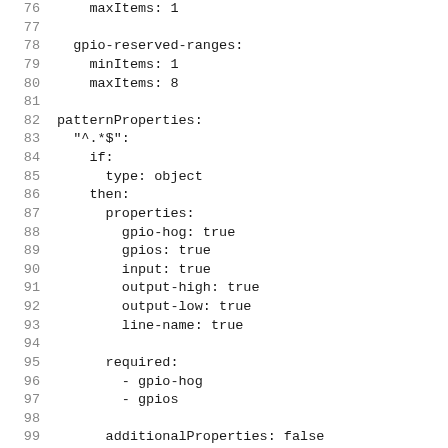Code listing lines 76-105: YAML schema definition including gpio-reserved-ranges, patternProperties, properties, required fields, and additionalProperties.